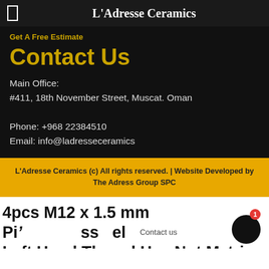L'Adresse Ceramics
Get A Free Estimate
Contact Us
Main Office:
#411, 18th November Street, Muscat. Oman

Phone: +968 22384510
Email: info@ladresseceramics
L'Adresse Ceramics (c) All rights reserved. | Website Developed by The Adress Group SPC
4pcs M12 x 1.5 mm Pi' Contact us ss el Left Hand Thread Hex Nut Metric Thread